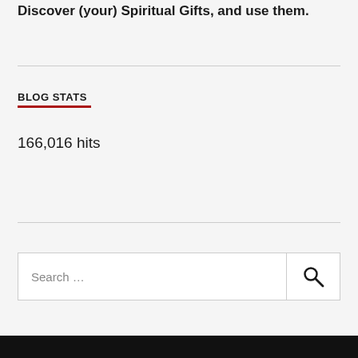Discover (your) Spiritual Gifts, and use them.
BLOG STATS
166,016 hits
Search ...